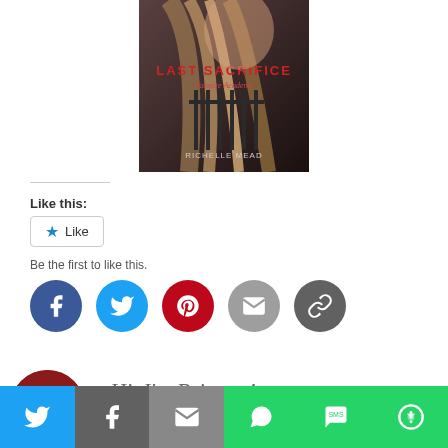[Figure (illustration): Book cover of 'Last Sacrifice' by Richelle Mead — shows a girl with long hair in front of iron gates, red title text]
Like this:
[Figure (screenshot): WordPress-style Like button widget with star icon and 'Like' text]
Be the first to like this.
[Figure (infographic): Row of social share buttons: Facebook, Twitter, Pinterest, Email, Link/Copy]
[Figure (photo): Author avatar photo partially visible, circular crop, dark red background with text 'ERSON' and 'OKR AR']
Hi, I'm Brittany!
[Figure (infographic): Bottom share bar with Twitter, Facebook, Email, WhatsApp, SMS, and More buttons in colored blocks]